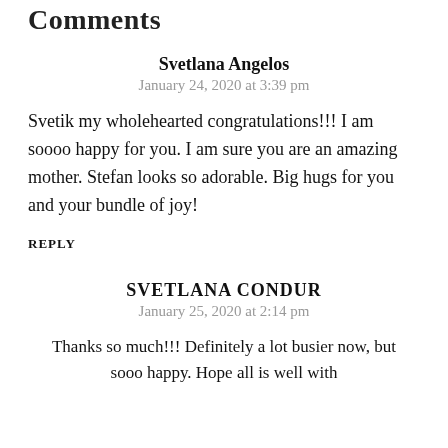Comments
Svetlana Angelos
January 24, 2020 at 3:39 pm
Svetik my wholehearted congratulations!!! I am soooo happy for you. I am sure you are an amazing mother. Stefan looks so adorable. Big hugs for you and your bundle of joy!
REPLY
SVETLANA CONDUR
January 25, 2020 at 2:14 pm
Thanks so much!!! Definitely a lot busier now, but sooo happy. Hope all is well with